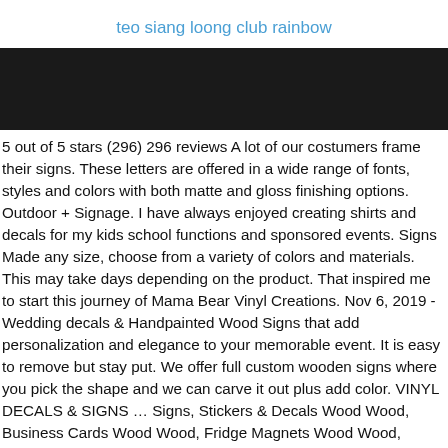teo siang loong club rainbow
[Figure (other): Dark/black banner image bar spanning full width]
5 out of 5 stars (296) 296 reviews A lot of our costumers frame their signs. These letters are offered in a wide range of fonts, styles and colors with both matte and gloss finishing options. Outdoor + Signage. I have always enjoyed creating shirts and decals for my kids school functions and sponsored events. Signs Made any size, choose from a variety of colors and materials. This may take days depending on the product. That inspired me to start this journey of Mama Bear Vinyl Creations. Nov 6, 2019 - Wedding decals & Handpainted Wood Signs that add personalization and elegance to your memorable event. It is easy to remove but stay put. We offer full custom wooden signs where you pick the shape and we can carve it out plus add color. VINYL DECALS & SIGNS … Signs, Stickers & Decals Wood Wood, Business Cards Wood Wood, Fridge Magnets Wood Wood, Flyers Wood Wood, Paper Stickers Wood Wood, Vinyl Stickers Wood Wood, A Frames Wood Wood, Magnetic